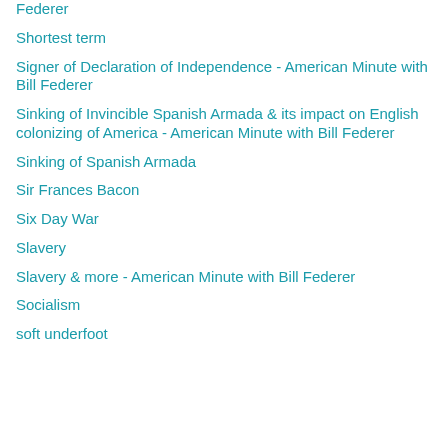Federer
Shortest term
Signer of Declaration of Independence - American Minute with Bill Federer
Sinking of Invincible Spanish Armada & its impact on English colonizing of America - American Minute with Bill Federer
Sinking of Spanish Armada
Sir Frances Bacon
Six Day War
Slavery
Slavery & more - American Minute with Bill Federer
Socialism
soft underfoot